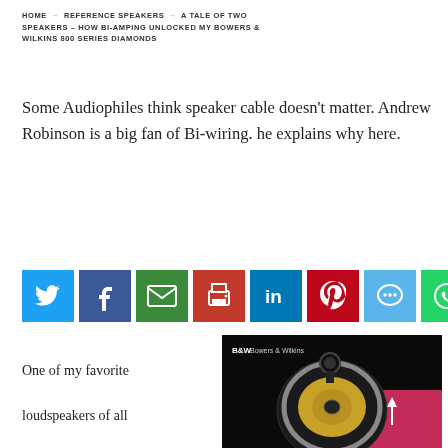HOME → REFERENCE SPEAKERS → A TALE OF TWO SPEAKERS – HOW BI-AMPING UNLOCKED MY BOWERS & WILKINS 800 SERIES DIAMONDS
Some Audiophiles think speaker cable doesn't matter. Andrew Robinson is a big fan of Bi-wiring. he explains why here.
[Figure (infographic): Row of 8 social media share buttons: Twitter (blue), Facebook (dark blue), Email (green), Print (red-orange), LinkedIn (light blue), Pinterest (dark red), Chat (light blue), WhatsApp (green)]
One of my favorite loudspeakers of all
[Figure (photo): B&W Bowers & Wilkins speaker close-up photo on black background with pink accent]